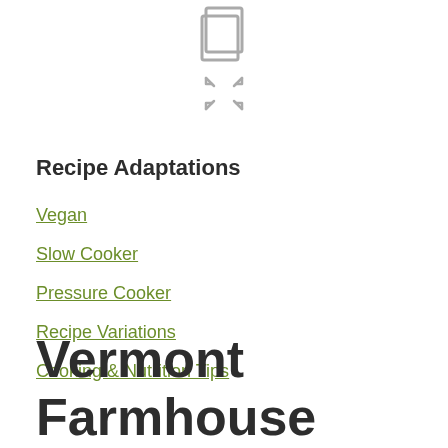[Figure (illustration): Print/copy icon (document with folded corner) and expand/fullscreen arrows icon, centered at top of page]
Recipe Adaptations
Vegan
Slow Cooker
Pressure Cooker
Recipe Variations
Cooking & Nutrition Tips
Vermont Farmhouse Apple Sausage and Bean Soup Mix